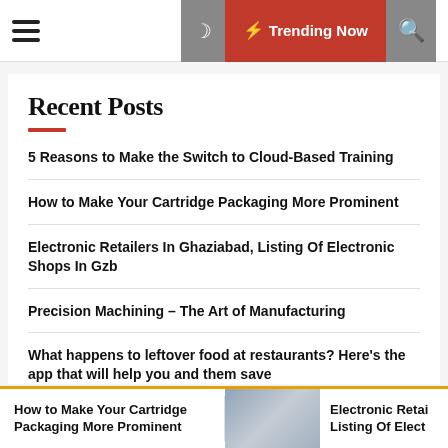☰  🌙  ⚡ Trending Now  🔍
Recent Posts
5 Reasons to Make the Switch to Cloud-Based Training
How to Make Your Cartridge Packaging More Prominent
Electronic Retailers In Ghaziabad, Listing Of Electronic Shops In Gzb
Precision Machining – The Art of Manufacturing
What happens to leftover food at restaurants? Here's the app that will help you and them save
How to Make Your Cartridge Packaging More Prominent  [image]  Electronic Retai... Listing Of Elect...